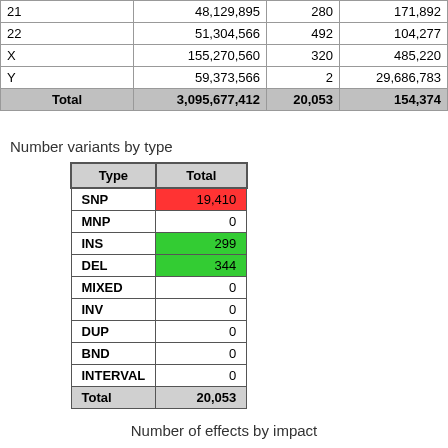|  |  |  |  |
| --- | --- | --- | --- |
| 21 | 48,129,895 | 280 | 171,892 |
| 22 | 51,304,566 | 492 | 104,277 |
| X | 155,270,560 | 320 | 485,220 |
| Y | 59,373,566 | 2 | 29,686,783 |
| Total | 3,095,677,412 | 20,053 | 154,374 |
Number variants by type
| Type | Total |
| --- | --- |
| SNP | 19,410 |
| MNP | 0 |
| INS | 299 |
| DEL | 344 |
| MIXED | 0 |
| INV | 0 |
| DUP | 0 |
| BND | 0 |
| INTERVAL | 0 |
| Total | 20,053 |
Number of effects by impact